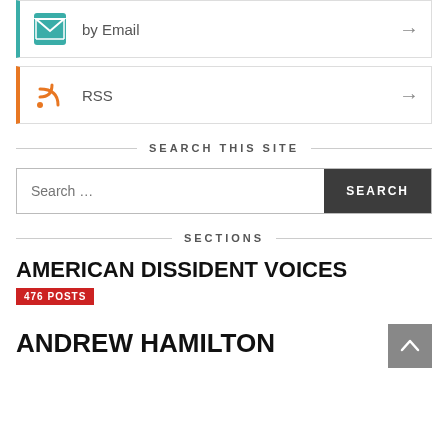by Email →
RSS →
SEARCH THIS SITE
Search … SEARCH
SECTIONS
AMERICAN DISSIDENT VOICES
476 POSTS
ANDREW HAMILTON